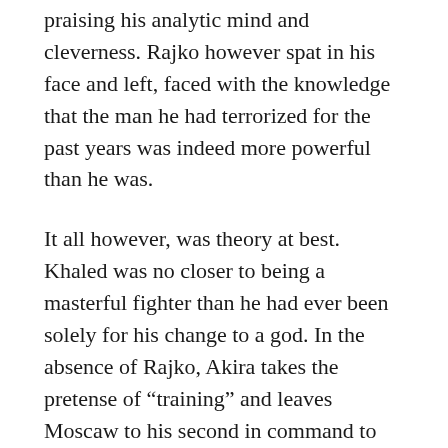praising his analytic mind and cleverness. Rajko however spat in his face and left, faced with the knowledge that the man he had terrorized for the past years was indeed more powerful than he was.
It all however, was theory at best. Khaled was no closer to being a masterful fighter than he had ever been solely for his change to a god. In the absence of Rajko, Akira takes the pretense of “training” and leaves Moscaw to his second in command to help the man he has come to see as his ward. Under his careful tutelage Khaled at least learns to defend himself.
It is universally agreed upon by scholars nowadays that the unfolding events can be traced back to High King Arundel’s greed for power and the Council’s inability to deny a clear madman what he requested. Even if that request included his son, recently appointed Chief Strategist of the Council, to be clement of his growing...